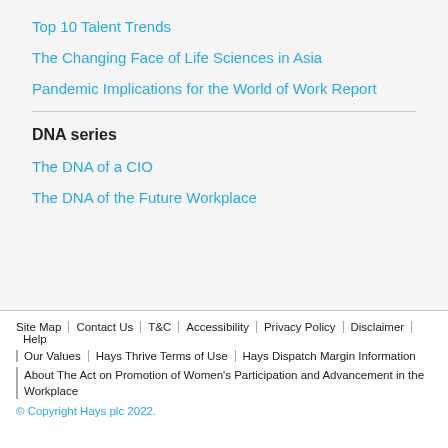Top 10 Talent Trends
The Changing Face of Life Sciences in Asia
Pandemic Implications for the World of Work Report
DNA series
The DNA of a CIO
The DNA of the Future Workplace
Site Map | Contact Us | T&C | Accessibility | Privacy Policy | Disclaimer | Help | Our Values | Hays Thrive Terms of Use | Hays Dispatch Margin Information | About The Act on Promotion of Women's Participation and Advancement in the Workplace
© Copyright Hays plc 2022.